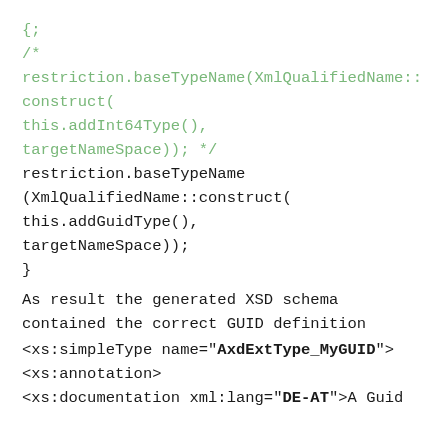{;
/*
restriction.baseTypeName(XmlQualifiedName::
construct(
this.addInt64Type(),
targetNameSpace)); */
restriction.baseTypeName
(XmlQualifiedName::construct(
this.addGuidType(),
targetNameSpace));
}
As result the generated XSD schema contained the correct GUID definition
<xs:simpleType name="AxdExtType_MyGUID">
<xs:annotation>
<xs:documentation xml:lang="DE-AT">A Guid